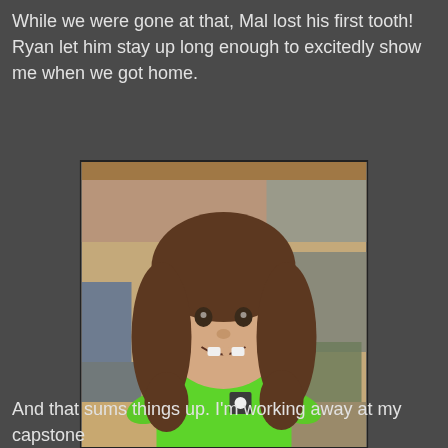While we were gone at that, Mal lost his first tooth! Ryan let him stay up long enough to excitedly show me when we got home.
[Figure (photo): A young child with long curly brown hair smiling and showing a missing tooth, wearing a bright green t-shirt, standing in a room with wooden bunk beds and shelving in the background.]
And that sums things up. I'm working away at my capstone